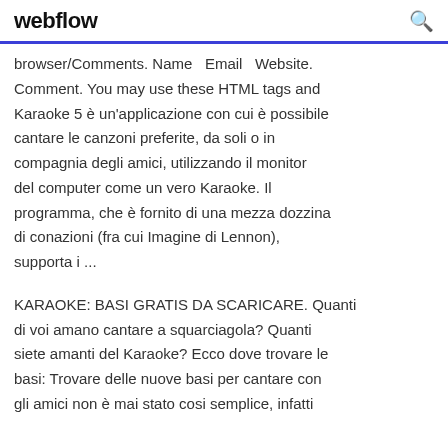webflow
browser/Comments. Name Email Website. Comment. You may use these HTML tags and Karaoke 5 è un'applicazione con cui è possibile cantare le canzoni preferite, da soli o in compagnia degli amici, utilizzando il monitor del computer come un vero Karaoke. Il programma, che è fornito di una mezza dozzina di conazioni (fra cui Imagine di Lennon), supporta i ...
KARAOKE: BASI GRATIS DA SCARICARE. Quanti di voi amano cantare a squarciagola? Quanti siete amanti del Karaoke? Ecco dove trovare le basi: Trovare delle nuove basi per cantare con gli amici non è mai stato cosi semplice, infatti